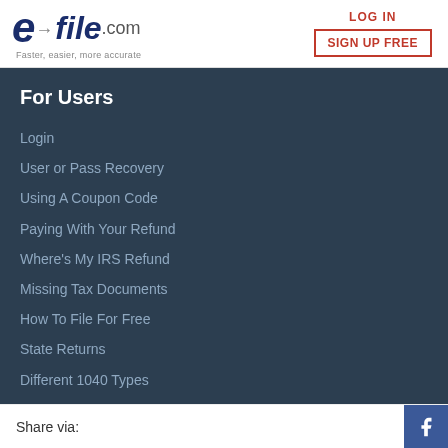[Figure (logo): e-file.com logo with tagline 'Faster, easier, more accurate']
LOG IN
SIGN UP FREE
For Users
Login
User or Pass Recovery
Using A Coupon Code
Paying With Your Refund
Where's My IRS Refund
Missing Tax Documents
How To File For Free
State Returns
Different 1040 Types
Filing Extensions
Fixing A Rejected Return
Share via: